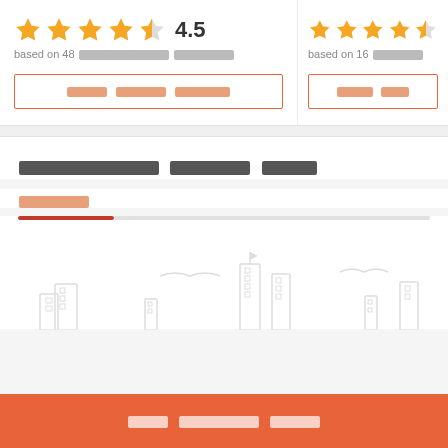4.5 based on 48 [redacted] [redacted]
[redacted] (button)
based on 16 [redacted]
[redacted] (button)
[redacted title text]
[redacted subheading]
[Figure (illustration): City skyline placeholder illustration with building outlines in light gray]
[redacted button text]